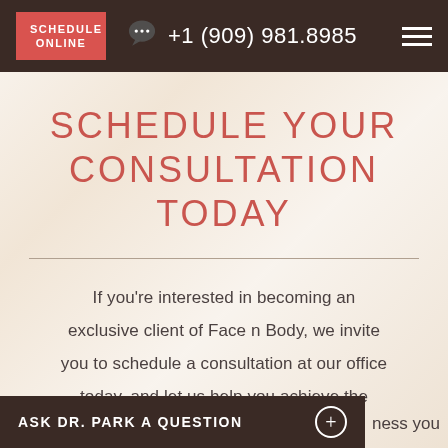SCHEDULE ONLINE | +1 (909) 981.8985
SCHEDULE YOUR CONSULTATION TODAY
If you're interested in becoming an exclusive client of Face n Body, we invite you to schedule a consultation at our office today, and let us help you achieve the
ASK DR. PARK A QUESTION